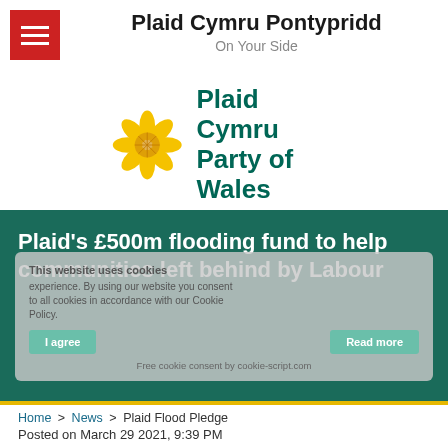Plaid Cymru Pontypridd – On Your Side
[Figure (logo): Plaid Cymru Party of Wales logo: golden flower icon and teal bold text]
Plaid's £500m flooding fund to help communities left behind by Labour
This website uses cookies ... I agree ... Read more ... Free cookie consent by cookie-script.com
Home > News > Plaid Flood Pledge
Posted on March 29 2021, 9:39 PM